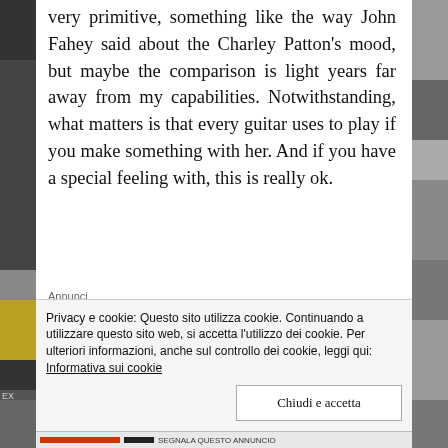very primitive, something like the way John Fahey said about the Charley Patton's mood, but maybe the comparison is light years far away from my capabilities. Notwithstanding, what matters is that every guitar uses to play if you make something with her. And if you have a special feeling with, this is really ok.
Annunci
[Figure (logo): P2 logo with grid icon and bold text 'Getting your team on' advertisement banner]
Privacy e cookie: Questo sito utilizza cookie. Continuando a utilizzare questo sito web, si accetta l'utilizzo dei cookie. Per ulteriori informazioni, anche sul controllo dei cookie, leggi qui: Informativa sui cookie
Chiudi e accetta